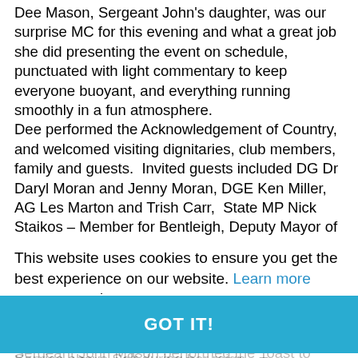Dee Mason, Sergeant John's daughter, was our surprise MC for this evening and what a great job she did presenting the event on schedule, punctuated with light commentary to keep everyone buoyant, and everything running smoothly in a fun atmosphere. Dee performed the Acknowledgement of Country, and welcomed visiting dignitaries, club members, family and guests.  Invited guests included DG Dr Daryl Moran and Jenny Moran, DGE Ken Miller, AG Les Marton and Trish Carr,  State MP Nick Staikos – Member for Bentleigh, Deputy Mayor of Kingston Hadi Saab and Rami Saab, Mayor of Bayside Alex del Proto and Donna del Proto. Karin Soster performed Invocation, and Ron Brownlees, performed the loyal toast, adding it was fitting to reflect on the Queen's 70th Jubilee and length of service – be recalled her visit to Australia in 1954 shortly after her crowning as Queen of Australia and the Commonwealth, adding she has served the Commonwealth well demonstrating unfleeting Service above Self during her reign.
This website uses cookies to ensure you get the best experience on our website. Learn more
GOT IT!
Sergeant John Mason performed the Toast to Rotary